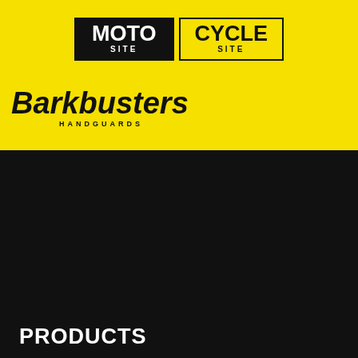[Figure (logo): Barkbusters Handguards logo with Australian Made badge on yellow background]
MOTO SITE
CYCLE SITE
[Figure (other): Hamburger menu icon (three horizontal white lines)]
Where to Buy
Videos
Catalogue
Contact Us
Wishlist
PRODUCTS